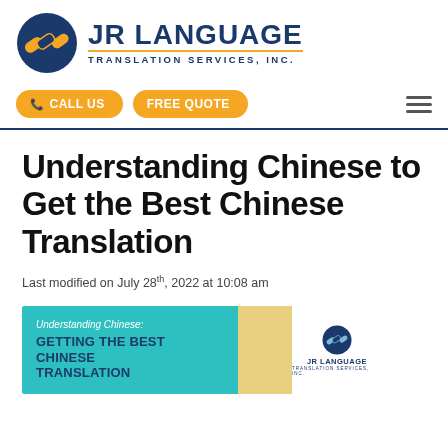[Figure (logo): JR Language Translation Services, Inc. logo with chain-link icon in orange and navy blue]
CALL US | FREE QUOTE
Understanding Chinese to Get the Best Chinese Translation
Last modified on July 28th, 2022 at 10:08 am
[Figure (infographic): Teal banner reading 'Understanding Chinese: GETTING THE BEST CHINESE TRANSLATION' with yellow accent block and JR Language logo on white background]